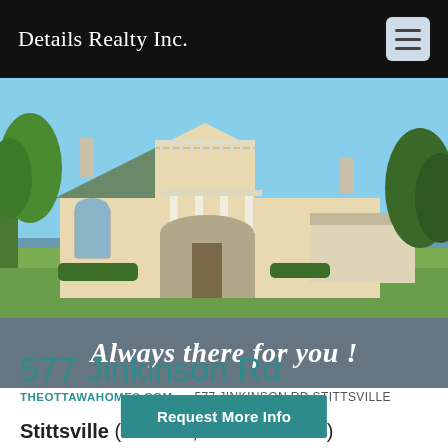Details Realty Inc.
[Figure (photo): Exterior photo of a large white colonial-style house with columns, chimneys, and well-maintained landscaping on a sunny day]
Always there for you !
THEOTTAWAHOMES.COM › 577 JINKINSON RD STITTSVILLE
577 Jinkinson Rd
Stittsville ( Ontario, CA - K2S 1B9)
Request More Info